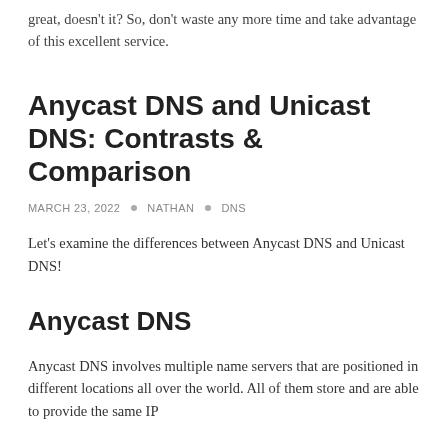great, doesn't it? So, don't waste any more time and take advantage of this excellent service.
Anycast DNS and Unicast DNS: Contrasts & Comparison
MARCH 23, 2022 • NATHAN • DNS
Let's examine the differences between Anycast DNS and Unicast DNS!
Anycast DNS
Anycast DNS involves multiple name servers that are positioned in different locations all over the world. All of them store and are able to provide the same IP...